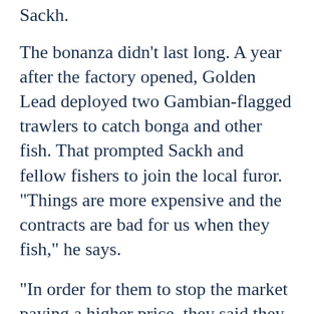Sackh.
The bonanza didn’t last long. A year after the factory opened, Golden Lead deployed two Gambian-flagged trawlers to catch bonga and other fish. That prompted Sackh and fellow fishers to join the local furor. “Things are more expensive and the contracts are bad for us when they fish,” he says.
“In order for them to stop the market paying a higher price, they said they had to bring in their own trawlers,” says local activist Lamin Jammeh, head of Environmental Concern Group Gunjur. “After that they start buying from local fishermen again, but they are still here using their trawlers. So many people cannot afford to